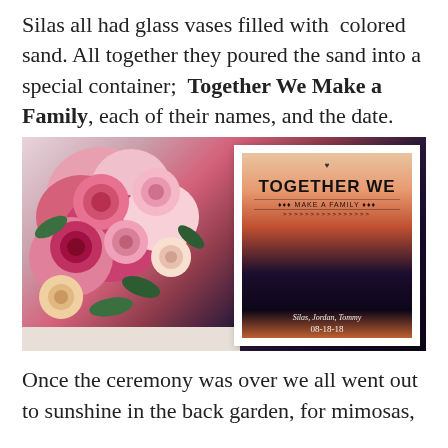Silas all had glass vases filled with colored sand. All together they poured the sand into a special container;  Together We Make a Family, each of their names, and the date.
[Figure (photo): Photo of a pink and red rose bouquet on the left, and a white framed shadow box on the right displaying colored sand layers with text reading 'TOGETHER WE MAKE A FAMILY', names 'Silas, Jordan, Tommy', and date '08-18-18'. Watermark '@loveaddict.net' in bottom right corner.]
Once the ceremony was over we all went out to sunshine in the back garden, for mimosas,